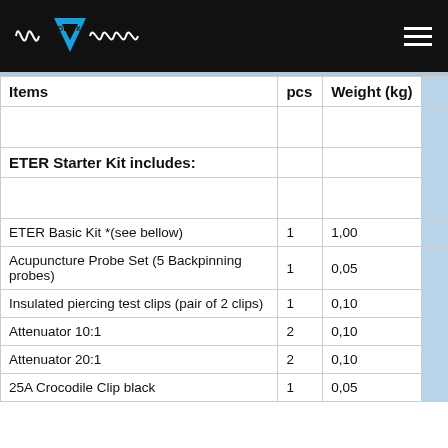DITEX logo and navigation header
| Items | pcs | Weight (kg) |
| --- | --- | --- |
|  |  |  |
| ETER Starter Kit includes: |  |  |
|  |  |  |
| ETER Basic Kit *(see bellow) | 1 | 1,00 |
| Acupuncture Probe Set (5 Backpinning probes) | 1 | 0,05 |
| Insulated piercing test clips (pair of 2 clips) | 1 | 0,10 |
| Attenuator 10:1 | 2 | 0,10 |
| Attenuator 20:1 | 2 | 0,10 |
| 25A Crocodile Clip black | 1 | 0,05 |